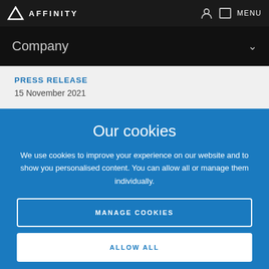AFFINITY | MENU
Company
PRESS RELEASE
15 November 2021
Our cookies
We use cookies to improve your experience on our website and to show you personalised content. You can allow all or manage them individually.
MANAGE COOKIES
ALLOW ALL